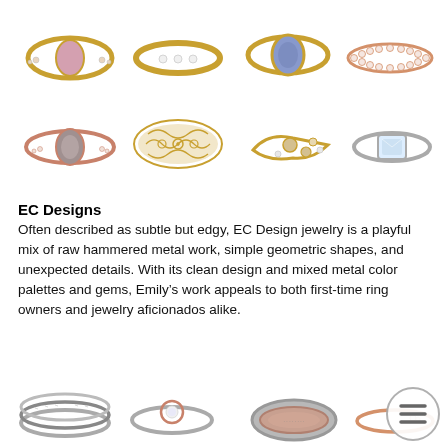[Figure (photo): Two rows of jewelry rings displayed on white background. Top row: gold ring with oval morganite stone, gold band with three small diamonds, gold ring with blue oval sapphire, rose gold eternity band. Bottom row: rose gold ring with oval gray diamond, ornate gold filigree wide band, gold asymmetric ring with small diamonds, silver/white gold ring with square diamond.]
EC Designs
Often described as subtle but edgy, EC Design jewelry is a playful mix of raw hammered metal work, simple geometric shapes, and unexpected details. With its clean design and mixed metal color palettes and gems, Emily’s work appeals to both first-time ring owners and jewelry aficionados alike.
[Figure (photo): Bottom row of four rings: stacked silver/white gold hammered bands, simple silver ring with small rose gold diamond bezel, wide two-tone silver and rose gold band, thin rose gold band. A circular hamburger menu icon overlaid at bottom right.]